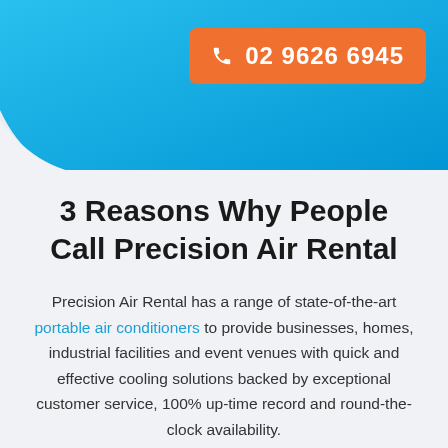[Figure (other): Blue gradient header banner with orange phone button showing '02 9626 6945' and a phone icon]
3 Reasons Why People Call Precision Air Rental
Precision Air Rental has a range of state-of-the-art portable air conditioners to provide businesses, homes, industrial facilities and event venues with quick and effective cooling solutions backed by exceptional customer service, 100% up-time record and round-the-clock availability.